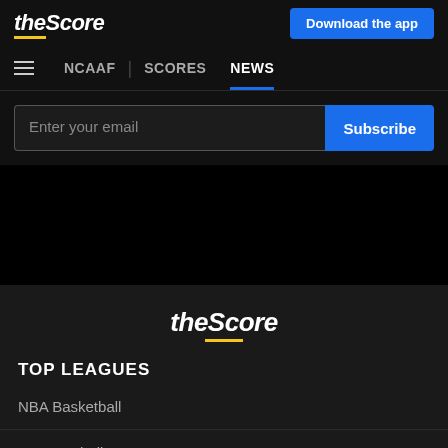theScore | Download the app
NCAAF | SCORES NEWS
Enter your email | Subscribe
[Figure (logo): theScore logo in footer, white italic bold text with yellow underline accent]
TOP LEAGUES
NBA Basketball
NFL Football
NHL Hockey